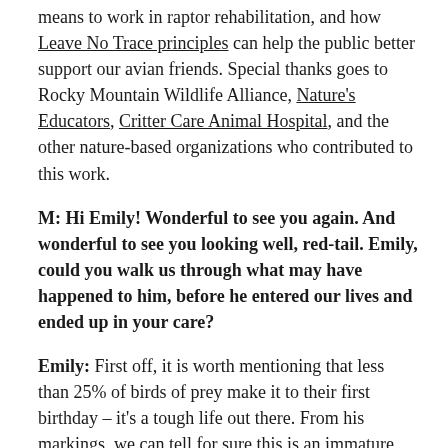means to work in raptor rehabilitation, and how Leave No Trace principles can help the public better support our avian friends. Special thanks goes to Rocky Mountain Wildlife Alliance, Nature's Educators, Critter Care Animal Hospital, and the other nature-based organizations who contributed to this work.
M: Hi Emily! Wonderful to see you again. And wonderful to see you looking well, red-tail. Emily, could you walk us through what may have happened to him, before he entered our lives and ended up in your care?
Emily: First off, it is worth mentioning that less than 25% of birds of prey make it to their first birthday – it's a tough life out there. From his markings, we can tell for sure this is an immature red-tail. As these guys learn to hunt and maneuver their landscape, they go for broke and hit their prey hard – or sometimes, as they're learning, they go hard and hit hard...